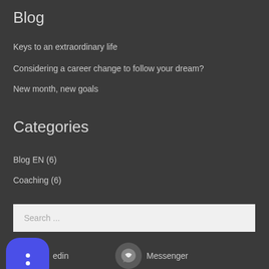Blog
Keys to an extraordinary life
Considering a career change to follow your dream?
New month, new goals
Categories
Blog EN (6)
Coaching (6)
Search ...
[Figure (logo): Blue rounded square icon with two white dots (ellipsis/more options icon)]
LinkedIn
[Figure (logo): Facebook Messenger circle icon]
Messenger